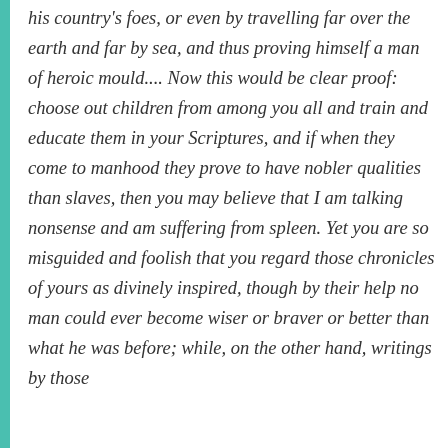his country's foes, or even by travelling far over the earth and far by sea, and thus proving himself a man of heroic mould.... Now this would be clear proof: choose out children from among you all and train and educate them in your Scriptures, and if when they come to manhood they prove to have nobler qualities than slaves, then you may believe that I am talking nonsense and am suffering from spleen. Yet you are so misguided and foolish that you regard those chronicles of yours as divinely inspired, though by their help no man could ever become wiser or braver or better than what he was before; while, on the other hand, writings by those